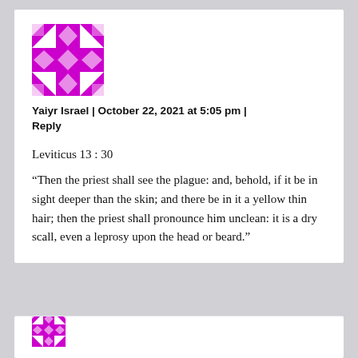[Figure (logo): Purple geometric cross/star quilt pattern avatar icon]
Yaiyr Israel | October 22, 2021 at 5:05 pm | Reply
Leviticus 13:30
“Then the priest shall see the plague: and, behold, if it be in sight deeper than the skin; and there be in it a yellow thin hair; then the priest shall pronounce him unclean: it is a dry scall, even a leprosy upon the head or beard.”